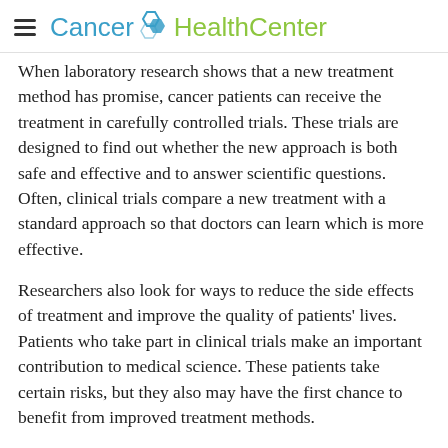Cancer HealthCenter
When laboratory research shows that a new treatment method has promise, cancer patients can receive the treatment in carefully controlled trials. These trials are designed to find out whether the new approach is both safe and effective and to answer scientific questions. Often, clinical trials compare a new treatment with a standard approach so that doctors can learn which is more effective.
Researchers also look for ways to reduce the side effects of treatment and improve the quality of patients' lives. Patients who take part in clinical trials make an important contribution to medical science. These patients take certain risks, but they also may have the first chance to benefit from improved treatment methods.
Clinical trials offer important options for many